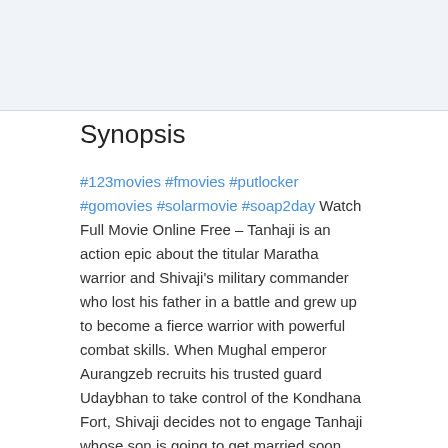Synopsis
#123movies #fmovies #putlocker #gomovies #solarmovie #soap2day Watch Full Movie Online Free – Tanhaji is an action epic about the titular Maratha warrior and Shivaji's military commander who lost his father in a battle and grew up to become a fierce warrior with powerful combat skills. When Mughal emperor Aurangzeb recruits his trusted guard Udaybhan to take control of the Kondhana Fort, Shivaji decides not to engage Tanhaji whose son is going to get married soon. However, as Tanhaji learns of Udaybhan's heading towards the fortress, he decides to take charge and stop the rival army from reaching their destination. This doesn't turn out to be easy as Udaybhan finds himself helped by people who don't want Tanhaji to succeed, resulting in battles and attacks